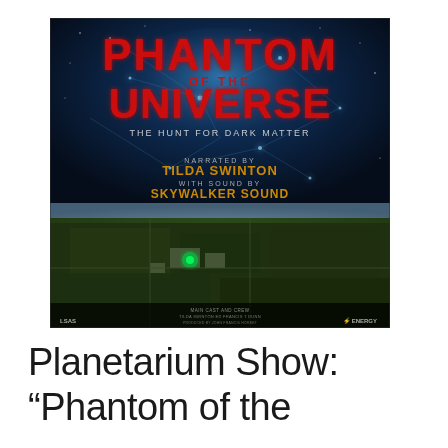[Figure (illustration): Movie poster for 'Phantom of the Universe: The Hunt for Dark Matter'. Features bold red text title on a dark blue cosmic background with nebula/particle imagery on top half, and an aerial view of a scientific facility (particle accelerator/detector site) on the bottom half. Text reads: PHANTOM OF THE UNIVERSE, THE HUNT FOR DARK MATTER, NARRATED BY TILDA SWINTON, WITH SOUND BY SKYWALKER SOUND. Bottom credits and logos including LSAS and ENERGY.]
Planetarium Show: "Phantom of the